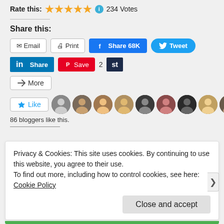Rate this: ★★★★★ ℹ 234 Votes
Share this:
[Figure (screenshot): Social sharing buttons: Email, Print, Share 68K (Facebook), Tweet (Twitter), LinkedIn Share, Pinterest Save, 2, st, More]
[Figure (screenshot): Like button with star icon, followed by a strip of 10 blogger avatar photos]
86 bloggers like this.
Privacy & Cookies: This site uses cookies. By continuing to use this website, you agree to their use.
To find out more, including how to control cookies, see here: Cookie Policy
Close and accept